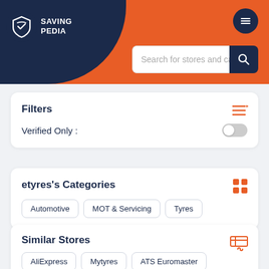[Figure (logo): SavingPedia logo with shield icon and white text on dark navy circular header area, with orange background and hamburger menu button, and search bar reading 'Search for stores and categor']
Filters
Verified Only :
etyres's Categories
Automotive
MOT & Servicing
Tyres
Similar Stores
AliExpress
Mytyres
ATS Euromaster
Autodoc
Auto Trader
Black Circles